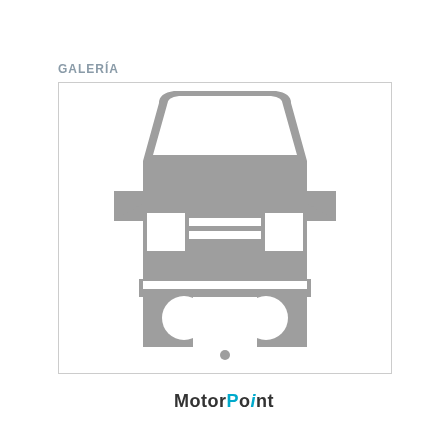GALERÍA
[Figure (illustration): Front-view placeholder illustration of a car in grey on white background, with a small grey dot below the car indicating a carousel/gallery indicator.]
MotorPoint